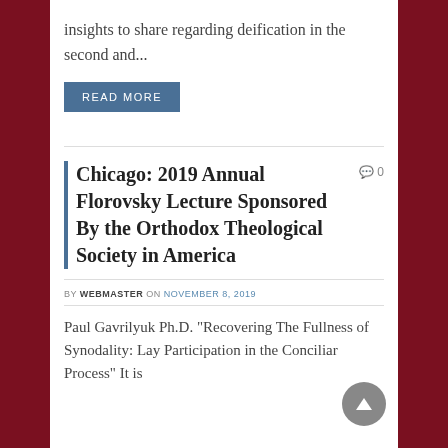insights to share regarding deification in the second and...
READ MORE
Chicago: 2019 Annual Florovsky Lecture Sponsored By the Orthodox Theological Society in America
BY WEBMASTER ON NOVEMBER 8, 2019
Paul Gavrilyuk Ph.D. “Recovering The Fullness of Synodality: Lay Participation in the Conciliar Process” It is